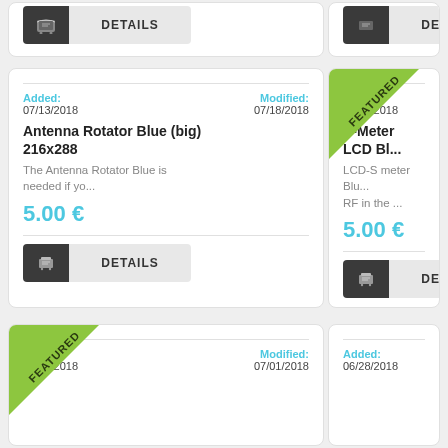[Figure (screenshot): E-commerce product listing page showing product cards in a two-column grid layout. Top row shows two partial cards with cart/details buttons. Middle row shows two product cards: 'Antenna Rotator Blue (big) 216x288' (Added: 07/13/2018, Modified: 07/18/2018, price 5.00€) and 'S-Meter LCD Bl...' (featured ribbon, Added: 07/13/2018, price 5.00€). Bottom row shows two more partial cards with featured ribbon (Added: 07/01/2018, Modified: 07/01/2018) and (Added: 06/28/2018).]